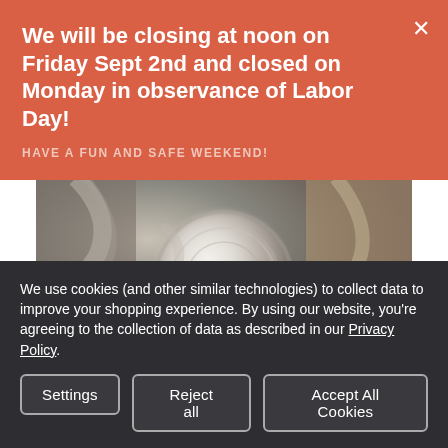We will be closing at noon on Friday Sept 2nd and closed on Monday in observance of Labor Day!
HAVE A FUN AND SAFE WEEKEND!
[Figure (photo): Close-up photo of a decorative circular stone or ceramic piece with intricate patterns, appearing blurred, set against a textured background.]
We use cookies (and other similar technologies) to collect data to improve your shopping experience. By using our website, you're agreeing to the collection of data as described in our Privacy Policy.
Settings
Reject all
Accept All Cookies